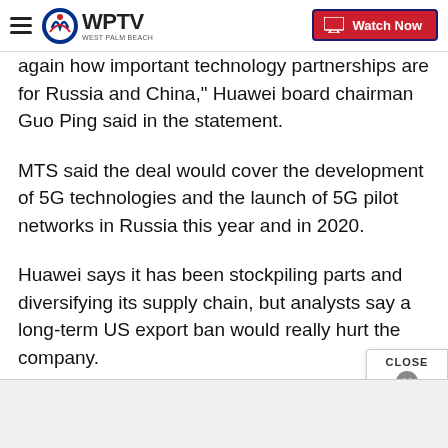WPTV - West Palm Beach | Watch Now
again how important technology partnerships are for Russia and China," Huawei board chairman Guo Ping said in the statement.
MTS said the deal would cover the development of 5G technologies and the launch of 5G pilot networks in Russia this year and in 2020.
Huawei says it has been stockpiling parts and diversifying its supply chain, but analysts say a long-term US export ban would really hurt the company.
Rivals are already starting to benefit. Finland's No...